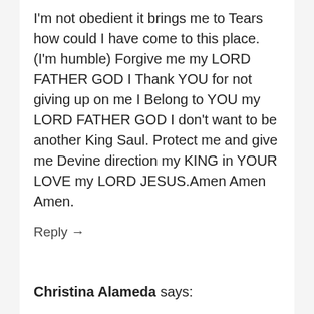I'm not obedient it brings me to Tears how could I have come to this place. (I'm humble) Forgive me my LORD FATHER GOD I Thank YOU for not giving up on me I Belong to YOU my LORD FATHER GOD I don't want to be another King Saul. Protect me and give me Devine direction my KING in YOUR LOVE my LORD JESUS.Amen Amen Amen.
Reply →
Christina Alameda says: